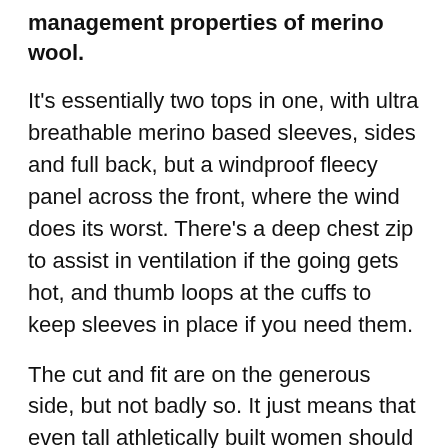management properties of merino wool.
It's essentially two tops in one, with ultra breathable merino based sleeves, sides and full back, but a windproof fleecy panel across the front, where the wind does its worst. There's a deep chest zip to assist in ventilation if the going gets hot, and thumb loops at the cuffs to keep sleeves in place if you need them.
The cut and fit are on the generous side, but not badly so. It just means that even tall athletically built women should still find the fit suits them as much as 'standard' women. Body and sleeve length are good, with no problems with gaps developing during riding. The neck is cosy when zipped up, without being constricting.
Two large zipped pockets at the rear, with reflective trim, will take a good selection of bits and pieces, even a compact windproof shell jacket if needed, and there's a